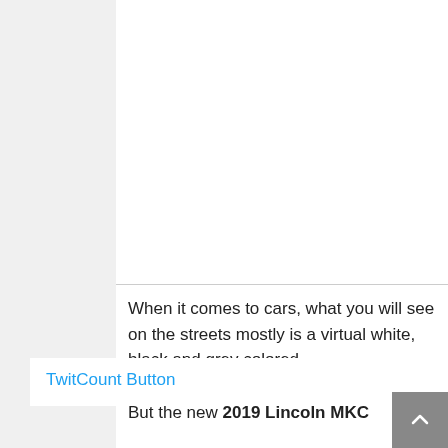When it comes to cars, what you will see on the streets mostly is a virtual white, black and grey colored
TwitCount Button
But the new 2019 Lincoln MKC